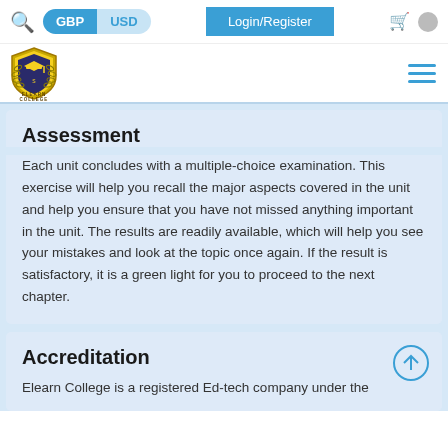GBP | USD | Login/Register
[Figure (logo): Elearn College shield logo with laurel wreath and graduation cap, text ELEARN COLLEGE below]
Assessment
Each unit concludes with a multiple-choice examination. This exercise will help you recall the major aspects covered in the unit and help you ensure that you have not missed anything important in the unit. The results are readily available, which will help you see your mistakes and look at the topic once again. If the result is satisfactory, it is a green light for you to proceed to the next chapter.
Accreditation
Elearn College is a registered Ed-tech company under the